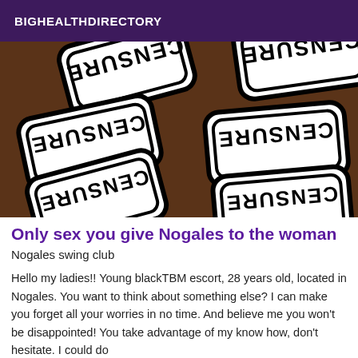BIGHEALTHDIRECTORY
[Figure (photo): Censored image showing multiple white sticker signs with the word 'CENSURE' printed in bold stencil-style black text, arranged in an overlapping pattern on a dark brown background.]
Only sex you give Nogales to the woman
Nogales swing club
Hello my ladies!! Young blackTBM escort, 28 years old, located in Nogales. You want to think about something else? I can make you forget all your worries in no time. And believe me you won't be disappointed! You take advantage of my know how, don't hesitate. I could do